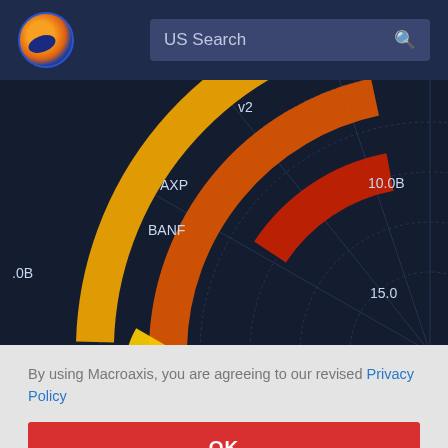[Figure (screenshot): Macroaxis website header with logo and US Search bar]
[Figure (radar-chart): Partial radar/radial chart showing financial data for tickers including AXP and BANF, with concentric arcs in yellow, orange, and red colors on dark navy background. Axis labels show values 10.0B and 15.0, with partial label .0B on left side.]
By using Macroaxis, you are agreeing to our revised Privacy Policy
OK